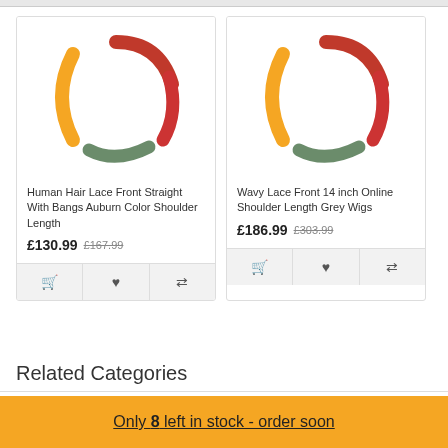[Figure (other): Product image placeholder with three colored arc strokes (orange, red, green) forming a circle/spinner logo for Human Hair Lace Front Straight With Bangs Auburn Color Shoulder Length]
Human Hair Lace Front Straight With Bangs Auburn Color Shoulder Length
£130.99  £167.99
[Figure (other): Product image placeholder with three colored arc strokes (orange, red, green) forming a circle/spinner logo for Wavy Lace Front 14 inch Online Shoulder Length Grey Wigs]
Wavy Lace Front 14 inch Online Shoulder Length Grey Wigs
£186.99  £303.99
Related Categories
Only 8 left in stock - order soon